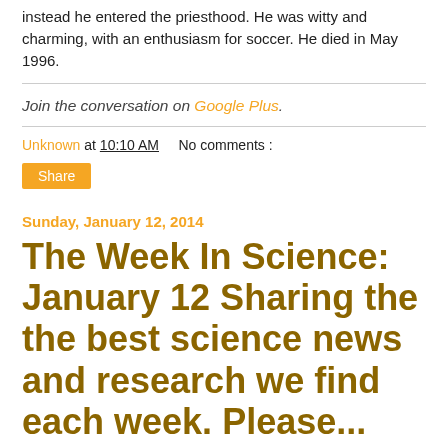instead he entered the priesthood. He was witty and charming, with an enthusiasm for soccer. He died in May 1996.
Join the conversation on Google Plus.
Unknown at 10:10 AM    No comments :
Share
Sunday, January 12, 2014
The Week In Science: January 12 Sharing the the best science news and research we find each week. Please...
The Week In Science: January 12
Sharing the the best science news and research we find each week. Please, as always, let us